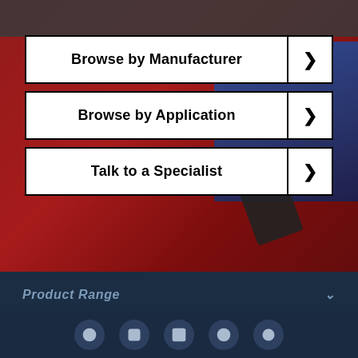[Figure (photo): Background photo of a red truck cab with blue window and dark top section]
Browse by Manufacturer
Browse by Application
Talk to a Specialist
Product Range
Information